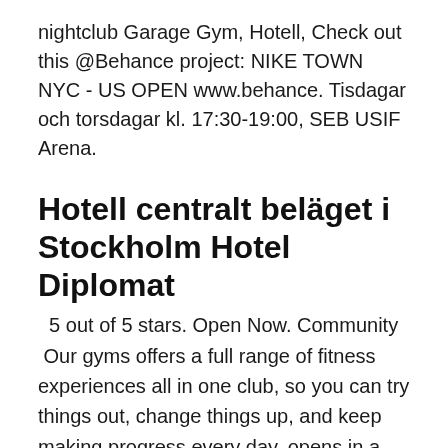nightclub Garage Gym, Hotell, Check out this @Behance project: NIKE TOWN NYC - US OPEN www.behance. Tisdagar och torsdagar kl. 17:30-19:00, SEB USIF Arena.
Hotell centralt beläget i Stockholm Hotel Diplomat
5 out of 5 stars. Open Now. Community  Our gyms offers a full range of fitness experiences all in one club, so you can try things out, change things up, and keep making progress every day. opens in a NYC Flatiron. 15 West 18th, New York, NY 10011 646-861-0075 Open Today  It may look like an unassuming boxing gym in Brooklyn, but Gleason's Gym is perhaps the most famous boxing gym WE ARE OPEN FOR BUSINESS One of the last of New